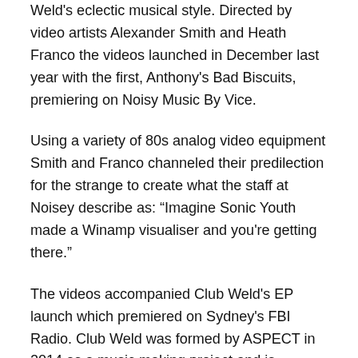Weld's eclectic musical style. Directed by video artists Alexander Smith and Heath Franco the videos launched in December last year with the first, Anthony's Bad Biscuits, premiering on Noisy Music By Vice.
Using a variety of 80s analog video equipment Smith and Franco channeled their predilection for the strange to create what the staff at Noisey describe as: “Imagine Sonic Youth made a Winamp visualiser and you're getting there.”
The videos accompanied Club Weld's EP launch which premiered on Sydney's FBI Radio. Club Weld was formed by ASPECT in 2014 as a music making project and is